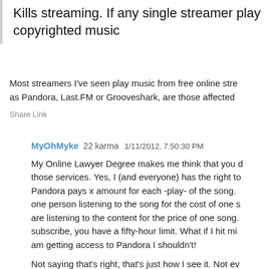Kills streaming. If any single streamer play... copyrighted music
Most streamers I've seen play music from free online stre... as Pandora, Last.FM or Grooveshark, are those affected...
Share Link
MyOhMyke 22 karma 1/11/2012, 7:50:30 PM
My Online Lawyer Degree makes me think that you d... those services. Yes, I (and everyone) has the right to... Pandora pays x amount for each -play- of the song. ... one person listening to the song for the cost of one s... are listening to the content for the price of one song.... subscribe, you have a fifty-hour limit. What if I hit mi... am getting access to Pandora I shouldn't!
Not saying that's right, that's just how I see it. Not ev... stream is legally entitled to the content of Pandora. I...
That's just Pandora, too. I don't know how Groovesh... legality.
Share Link